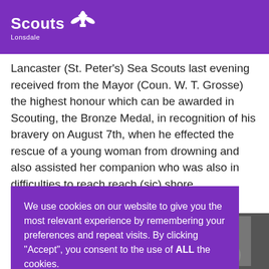Scouts Lonsdale
Lancaster (St. Peter's) Sea Scouts last evening received from the Mayor (Coun. W. T. Grosse) the highest honour which can be awarded in Scouting, the Bronze Medal, in recognition of his bravery on August 7th, when he effected the rescue of a young woman from drowning and also assisted her companion who was also in difficulties to reach reach (sic) shore.
We use cookies on our website to give you the most relevant experience by remembering your preferences and repeat visits. By clicking “Accept”, you consent to the use of ALL the cookies.
Cookie settings   ACCEPT
[Figure (photo): Black and white photograph of a person, partially visible on the right side of the page]
the Town Hall. The Mayor